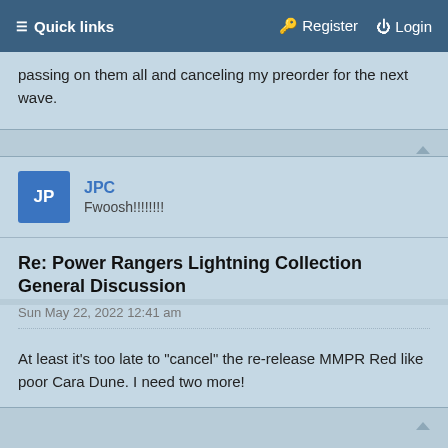Quick links   Register   Login
passing on them all and canceling my preorder for the next wave.
JPC
Fwoosh!!!!!!!!
Re: Power Rangers Lightning Collection General Discussion
Sun May 22, 2022 12:41 am
At least it's too late to "cancel" the re-release MMPR Red like poor Cara Dune. I need two more!